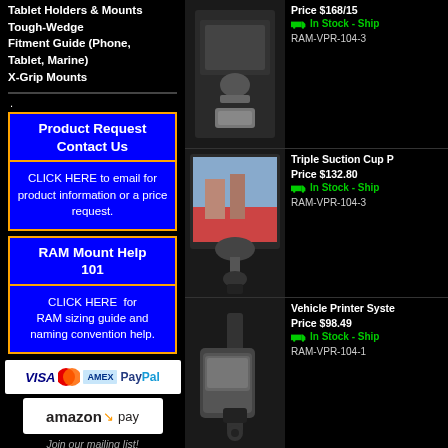Tablet Holders & Mounts
Tough-Wedge Fitment Guide (Phone, Tablet, Marine)
X-Grip Mounts
[Figure (other): Product Request Contact Us button - blue box with orange border]
CLICK HERE to email for product information or a price request.
[Figure (other): RAM Mount Help 101 button - blue box with orange border]
CLICK HERE for RAM sizing guide and naming convention help.
[Figure (other): Payment logos: VISA, MasterCard, AMEX, PayPal]
[Figure (other): Amazon Pay logo]
Join our mailing list!
[Figure (photo): Car mount product photo - top]
Price $168/15
In Stock - Ship
RAM-VPR-104-3
[Figure (photo): Triple Suction Cup product photo]
Triple Suction Cup P
Price $132.80
In Stock - Ship
RAM-VPR-104-3
[Figure (photo): Vehicle Printer System product photo]
Vehicle Printer Syste
Price $98.49
In Stock - Ship
RAM-VPR-104-1